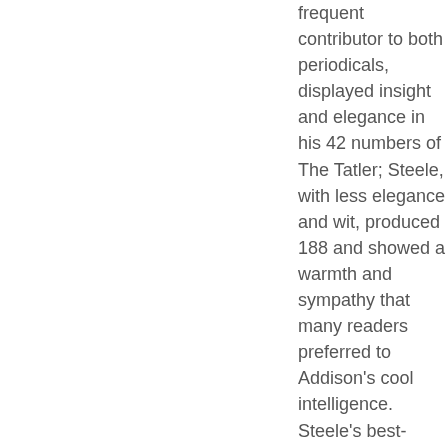frequent contributor to both periodicals, displayed insight and elegance in his 42 numbers of The Tatler; Steele, with less elegance and wit, produced 188 and showed a warmth and sympathy that many readers preferred to Addison's cool intelligence. Steele's best-known play, The Conscious Lovers (1722), retreats from the artifice and aristocratic notions of Restoration drama, promoting instead a sound middle-class gentility. Married twice, Steele died in Wales, where he lived